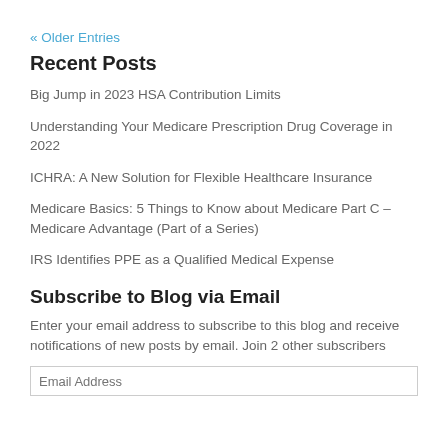« Older Entries
Recent Posts
Big Jump in 2023 HSA Contribution Limits
Understanding Your Medicare Prescription Drug Coverage in 2022
ICHRA: A New Solution for Flexible Healthcare Insurance
Medicare Basics: 5 Things to Know about Medicare Part C – Medicare Advantage (Part of a Series)
IRS Identifies PPE as a Qualified Medical Expense
Subscribe to Blog via Email
Enter your email address to subscribe to this blog and receive notifications of new posts by email. Join 2 other subscribers
Email Address